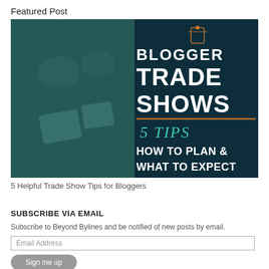Featured Post
[Figure (illustration): Blog post featured image for 'Blogger Trade Shows: 5 Tips How to Plan & What to Expect'. Left half shows a blurred photo of people at a conference/trade show with teal overlay. Right half is a dark teal background with text: clipboard icon, 'BLOGGER', 'TRADE SHOWS', orange underline, '5 TIPS' in teal italic, 'HOW TO PLAN & WHAT TO EXPECT' in white bold.]
5 Helpful Trade Show Tips for Bloggers
SUBSCRIBE VIA EMAIL
Subscribe to Beyond Bylines and be notified of new posts by email.
Email Address
Sign me up